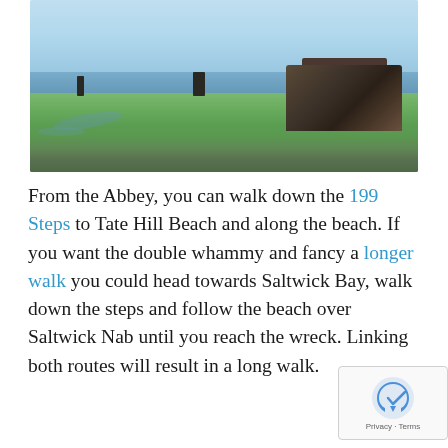[Figure (photo): Outdoor coastal photo showing a wide grassy tidal flat area near the sea. A person stands in the center, another figure visible on the left. A large dark ruin or rock structure sits on the right. Sky is pale blue, sea is visible at the horizon.]
From the Abbey, you can walk down the 199 Steps to Tate Hill Beach and along the beach. If you want the double whammy and fancy a longer walk you could head towards Saltwick Bay, walk down the steps and follow the beach over Saltwick Nab until you reach the wreck. Linking both routes will result in a long walk.